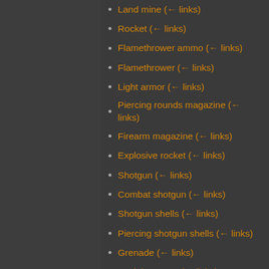Land mine  (← links)
Rocket  (← links)
Flamethrower ammo  (← links)
Flamethrower  (← links)
Light armor  (← links)
Piercing rounds magazine  (← links)
Firearm magazine  (← links)
Explosive rocket  (← links)
Shotgun  (← links)
Combat shotgun  (← links)
Shotgun shells  (← links)
Piercing shotgun shells  (← links)
Grenade  (← links)
Modular armor  (← links)
Power armor  (← links)
Power armor MK2  (← links)
Nightvision  (← links)
Personal battery MK2  (← links)
Energy shield  (← links)